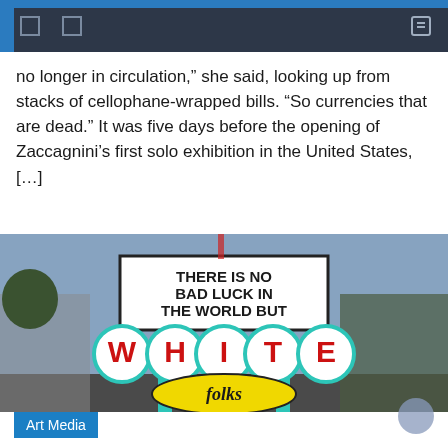navigation header with icons
no longer in circulation,” she said, looking up from stacks of cellophane-wrapped bills. “So currencies that are dead.” It was five days before the opening of Zaccagnini’s first solo exhibition in the United States, […]
[Figure (photo): Outdoor sign reading 'THERE IS NO BAD LUCK IN THE WORLD BUT WHITE folks' — a marquee-style sign with teal posts, circular letter panels spelling WHITE in red on white circles, and a yellow oval badge reading 'folks' in script]
Art Media